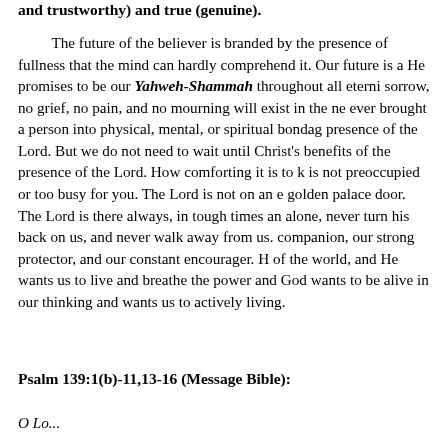and trustworthy) and true (genuine).
The future of the believer is branded by the presence of fullness that the mind can hardly comprehend it. Our future is as He promises to be our Yahweh-Shammah throughout all eternity. sorrow, no grief, no pain, and no mourning will exist in the new ever brought a person into physical, mental, or spiritual bondage presence of the Lord. But we do not need to wait until Christ's r benefits of the presence of the Lord. How comforting it is to kn is not preoccupied or too busy for you. The Lord is not on an ex golden palace door. The Lord is there always, in tough times an alone, never turn his back on us, and never walk away from us. companion, our strong protector, and our constant encourager. H of the world, and He wants us to live and breathe the power and God wants to be alive in our thinking and wants us to actively p living.
Psalm 139:1(b)-11,13-16 (Message Bible):
O Lo...